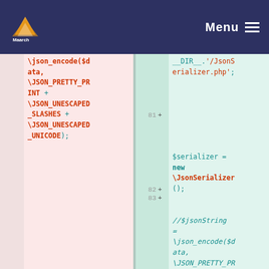Maarch | Menu
[Figure (screenshot): Code diff view showing PHP code. Left (pink/removed) panel shows \json_encode($data, \JSON_PRETTY_PRINT + \JSON_UNESCAPED_SLASHES + \JSON_UNESCAPED_UNICODE);. Right (green/added) panel shows __DIR__.'/JsonSerializer.php'; and lines 81-83 with $serializer = new \JsonSerializer(); and ///$jsonString = \json_encode($data, \JSON_PRETTY_PR]